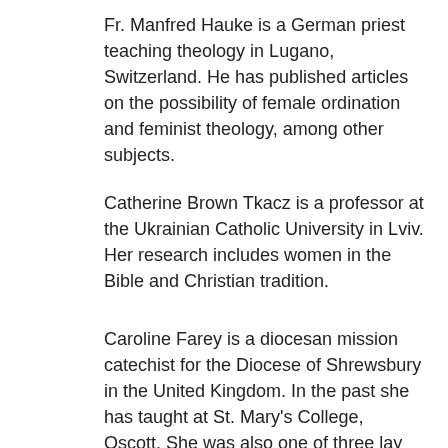Fr. Manfred Hauke is a German priest teaching theology in Lugano, Switzerland. He has published articles on the possibility of female ordination and feminist theology, among other subjects.
Catherine Brown Tkacz is a professor at the Ukrainian Catholic University in Lviv. Her research includes women in the Bible and Christian tradition.
Caroline Farey is a diocesan mission catechist for the Diocese of Shrewsbury in the United Kingdom. In the past she has taught at St. Mary's College, Oscott. She was also one of three lay women to take part in the Synod of Bishops on the New Evangelization as an expert in 2012. Farey has also worked in the past in the Pontifical Academy for the New Evangelization and Catechesis.
Anne-Marie Pelletier is a French biblical scholar, who was chosen by Pope Francis to write the meditations for the Stations of the Cross at the Colosseum on Good Friday 2017. Pelletier was also a 2014 recipient of the